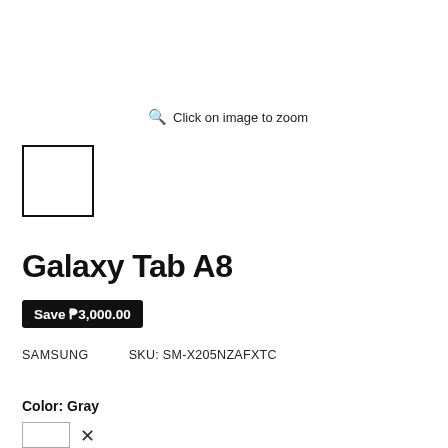Click on image to zoom
[Figure (other): Thumbnail image placeholder box (white square with black border)]
Galaxy Tab A8
Save ₱3,000.00
SAMSUNG   SKU: SM-X205NZAFXTC
Color: Gray
[Figure (other): Color swatch box (white square with border) with X mark]